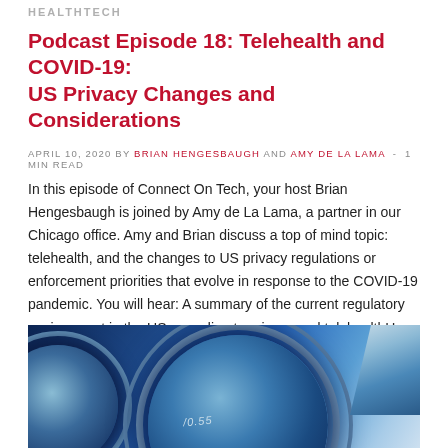HEALTHTECH
Podcast Episode 18: Telehealth and COVID-19: US Privacy Changes and Considerations
APRIL 10, 2020 by BRIAN HENGESBAUGH AND AMY DE LA LAMA  -  1 MIN READ
In this episode of Connect On Tech, your host Brian Hengesbaugh is joined by Amy de La Lama, a partner in our Chicago office. Amy and Brian discuss a top of mind topic: telehealth, and the changes to US privacy regulations or enforcement priorities that evolve in response to the COVID-19 pandemic. You will hear: A summary of the current regulatory environment in the US regarding to privacy and telehealthHow US authorities taken steps to...
[Figure (photo): Close-up photo of microscope lenses on a blue background]